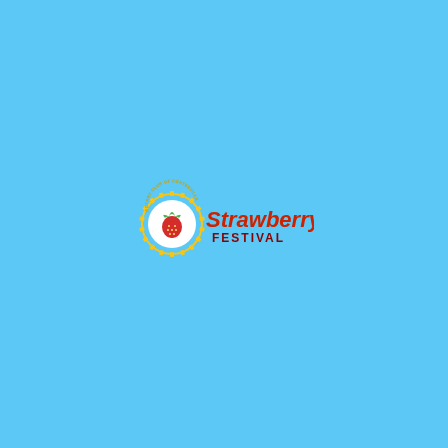[Figure (logo): Rotary Club of Coatesville Strawberry Festival logo. A circular Rotary gear/cog emblem in yellow/gold with the text 'ROTARY CLUB OF COATESVILLE' around the arc. Inside the circle is a red strawberry with green leaves. To the right of the emblem, 'Strawberry' is written in large red text and 'FESTIVAL' in smaller dark red/maroon uppercase text below it.]